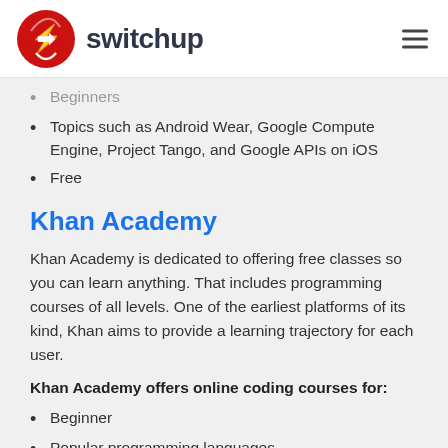switchup
Beginners
Topics such as Android Wear, Google Compute Engine, Project Tango, and Google APIs on iOS
Free
Khan Academy
Khan Academy is dedicated to offering free classes so you can learn anything. That includes programming courses of all levels. One of the earliest platforms of its kind, Khan aims to provide a learning trajectory for each user.
Khan Academy offers online coding courses for:
Beginner
Popular programming languages